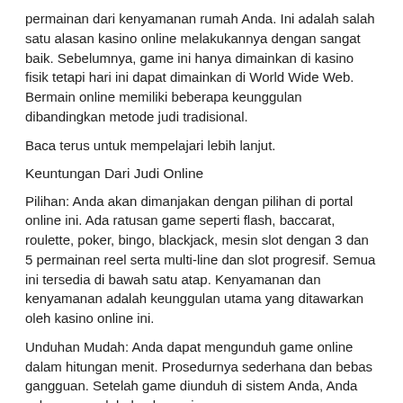permainan dari kenyamanan rumah Anda. Ini adalah salah satu alasan kasino online melakukannya dengan sangat baik. Sebelumnya, game ini hanya dimainkan di kasino fisik tetapi hari ini dapat dimainkan di World Wide Web. Bermain online memiliki beberapa keunggulan dibandingkan metode judi tradisional.
Baca terus untuk mempelajari lebih lanjut.
Keuntungan Dari Judi Online
Pilihan: Anda akan dimanjakan dengan pilihan di portal online ini. Ada ratusan game seperti flash, baccarat, roulette, poker, bingo, blackjack, mesin slot dengan 3 dan 5 permainan reel serta multi-line dan slot progresif. Semua ini tersedia di bawah satu atap. Kenyamanan dan kenyamanan adalah keunggulan utama yang ditawarkan oleh kasino online ini.
Unduhan Mudah: Anda dapat mengunduh game online dalam hitungan menit. Prosedurnya sederhana dan bebas gangguan. Setelah game diunduh di sistem Anda, Anda cukup mencolok dan bermain.
Keamanan: Kasino online menawarkan keamanan yang lebih baik dibandingkan dengan kasino fisik. Ini karena aturan dan peraturannya cukup ketat. Selain itu, situs perjudian berlisensi dan diatur jauh lebih aman. Anda dapat yakin Anda tidak akan kehilangan uang.
Bonus dan Jackpot: Bonus dan jackpot di portal online ini nyata. Anda dapat mengharapkan penarikan hadiah uang tunai secara acak saat